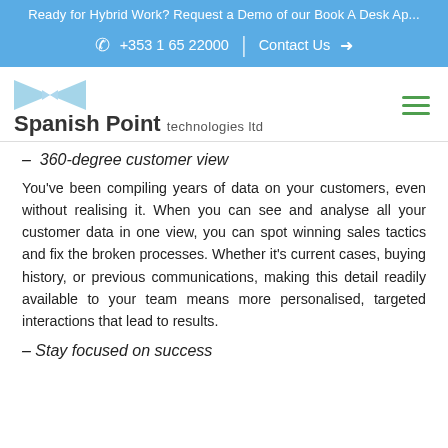Ready for Hybrid Work? Request a Demo of our Book A Desk Ap...
+353 1 65 22000  |  Contact Us →
[Figure (logo): Spanish Point technologies ltd logo with blue bowtie graphic]
– 360-degree customer view
You've been compiling years of data on your customers, even without realising it. When you can see and analyse all your customer data in one view, you can spot winning sales tactics and fix the broken processes. Whether it's current cases, buying history, or previous communications, making this detail readily available to your team means more personalised, targeted interactions that lead to results.
– Stay focused on success